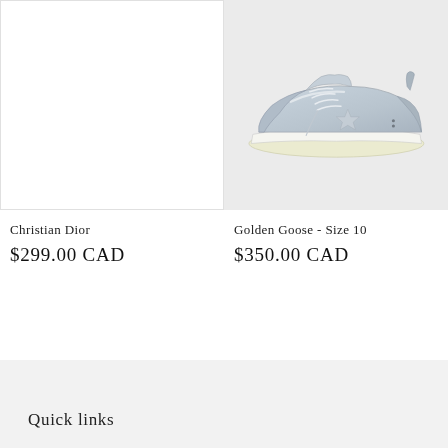[Figure (photo): Product image placeholder for Christian Dior item, white background with border]
[Figure (photo): Silver metallic Golden Goose sneaker on grey background, side profile view]
Christian Dior
$299.00 CAD
Golden Goose - Size 10
$350.00 CAD
Quick links